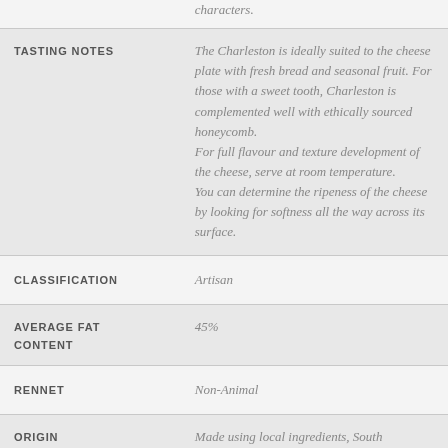characters.
| TASTING NOTES | The Charleston is ideally suited to the cheese plate with fresh bread and seasonal fruit. For those with a sweet tooth, Charleston is complemented well with ethically sourced honeycomb.
For full flavour and texture development of the cheese, serve at room temperature.
You can determine the ripeness of the cheese by looking for softness all the way across its surface. |
| CLASSIFICATION | Artisan |
| AVERAGE FAT CONTENT | 45% |
| RENNET | Non-Animal |
| ORIGIN | Made using local ingredients, South Australia, Australia |